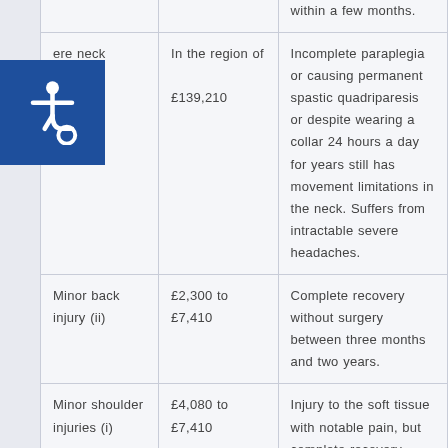| Injury type | Compensation amount | Description |
| --- | --- | --- |
|  |  | within a few months. |
| ere neck ry (i) | In the region of £139,210 | Incomplete paraplegia or causing permanent spastic quadriparesis or despite wearing a collar 24 hours a day for years still has movement limitations in the neck. Suffers from intractable severe headaches. |
| Minor back injury (ii) | £2,300 to £7,410 | Complete recovery without surgery between three months and two years. |
| Minor shoulder injuries (i) | £4,080 to £7,410 | Injury to the soft tissue with notable pain, but complete recovery within |